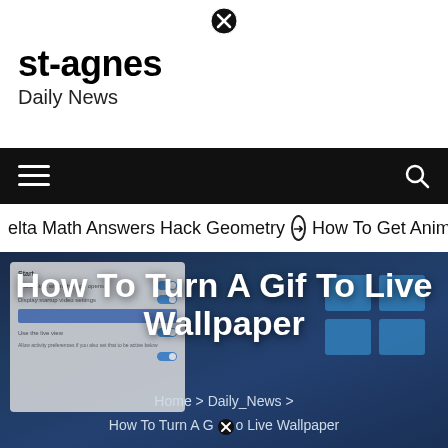[Figure (other): Close/X button circle icon at top center]
st-agnes
Daily News
[Figure (other): Black navigation bar with hamburger menu icon on left and search icon on right]
elta Math Answers Hack Geometry → How To Get Animate
[Figure (screenshot): Hero image with dark blue background showing Windows settings screen on the left and Windows logo on the right, overlaid with large white bold title text and breadcrumb navigation]
How To Turn A Gif To Live Wallpaper
Home > Daily_News > How To Turn A Gif o Live Wallpaper